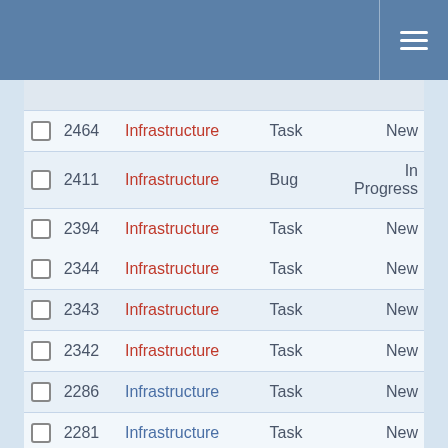[Figure (screenshot): Navigation header bar with hamburger menu icon on blue background]
|  | ID | Project | Type | Status |
| --- | --- | --- | --- | --- |
|  | 2464 | Infrastructure | Task | New |
|  | 2411 | Infrastructure | Bug | In Progress |
|  | 2394 | Infrastructure | Task | New |
|  | 2344 | Infrastructure | Task | New |
|  | 2343 | Infrastructure | Task | New |
|  | 2342 | Infrastructure | Task | New |
|  | 2286 | Infrastructure | Task | New |
|  | 2281 | Infrastructure | Task | New |